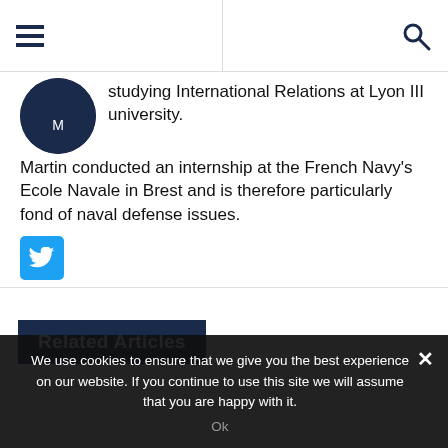navigation header with hamburger menu and search icon
studying International Relations at Lyon III university. Martin conducted an internship at the French Navy's Ecole Navale in Brest and is therefore particularly fond of naval defense issues.
[Figure (logo): Twitter/X social media share button, blue square with white bird icon]
Related Articles
We use cookies to ensure that we give you the best experience on our website. If you continue to use this site we will assume that you are happy with it.
Ok